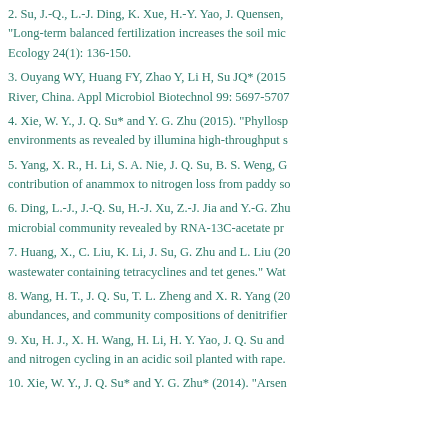2. Su, J.-Q., L.-J. Ding, K. Xue, H.-Y. Yao, J. Quensen, "Long-term balanced fertilization increases the soil mic Ecology 24(1): 136-150.
3. Ouyang WY, Huang FY, Zhao Y, Li H, Su JQ* (2015 River, China. Appl Microbiol Biotechnol 99: 5697-5707
4. Xie, W. Y., J. Q. Su* and Y. G. Zhu (2015). "Phyllosp environments as revealed by illumina high-throughput s
5. Yang, X. R., H. Li, S. A. Nie, J. Q. Su, B. S. Weng, G contribution of anammox to nitrogen loss from paddy so
6. Ding, L.-J., J.-Q. Su, H.-J. Xu, Z.-J. Jia and Y.-G. Zhu microbial community revealed by RNA-13C-acetate pr
7. Huang, X., C. Liu, K. Li, J. Su, G. Zhu and L. Liu (20 wastewater containing tetracyclines and tet genes." Wat
8. Wang, H. T., J. Q. Su, T. L. Zheng and X. R. Yang (20 abundances, and community compositions of denitrifier
9. Xu, H. J., X. H. Wang, H. Li, H. Y. Yao, J. Q. Su and and nitrogen cycling in an acidic soil planted with rape.
10. Xie, W. Y., J. Q. Su* and Y. G. Zhu* (2014). "Arsen